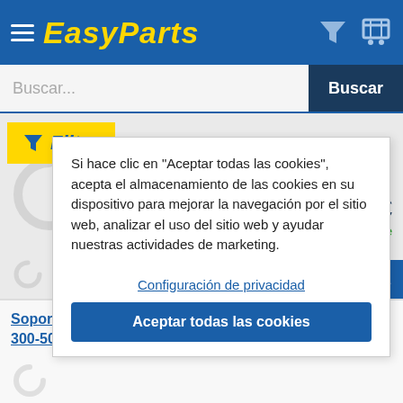EasyParts
Buscar...
Filter
Si hace clic en "Aceptar todas las cookies", acepta el almacenamiento de las cookies en su dispositivo para mejorar la navegación por el sitio web, analizar el uso del sitio web y ayudar nuestras actividades de marketing.
31,68 €
Disponible
ir a la cesta
Configuración de privacidad
Aceptar todas las cookies
Soporte multimedia (PMP) Piaggio MP3 LT ABS-ASR 300-500 2014